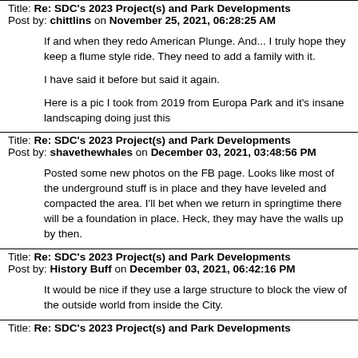Title: Re: SDC's 2023 Project(s) and Park Developments
Post by: chittlins on November 25, 2021, 06:28:25 AM
If and when they redo American Plunge. And... I truly hope they keep a flume style ride. They need to add a family with it.

I have said it before but said it again.

Here is a pic I took from 2019 from Europa Park and it's insane landscaping doing just this
Title: Re: SDC's 2023 Project(s) and Park Developments
Post by: shavethewhales on December 03, 2021, 03:48:56 PM
Posted some new photos on the FB page. Looks like most of the underground stuff is in place and they have leveled and compacted the area. I'll bet when we return in springtime there will be a foundation in place. Heck, they may have the walls up by then.
Title: Re: SDC's 2023 Project(s) and Park Developments
Post by: History Buff on December 03, 2021, 06:42:16 PM
It would be nice if they use a large structure to block the view of the outside world from inside the City.
Title: Re: SDC's 2023 Project(s) and Park Developments